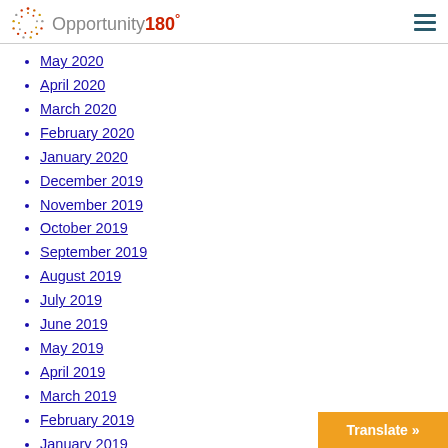Opportunity180°
May 2020
April 2020
March 2020
February 2020
January 2020
December 2019
November 2019
October 2019
September 2019
August 2019
July 2019
June 2019
May 2019
April 2019
March 2019
February 2019
January 2019